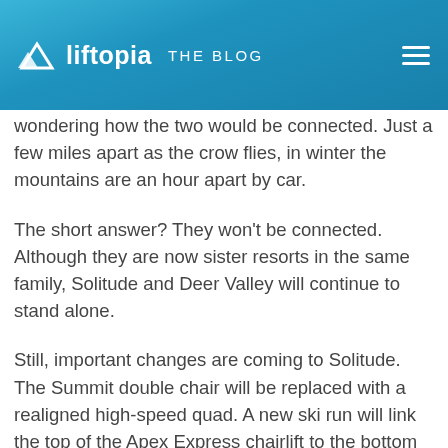liftopia THE BLOG
wondering how the two would be connected. Just a few miles apart as the crow flies, in winter the mountains are an hour apart by car.
The short answer? They won't be connected. Although they are now sister resorts in the same family, Solitude and Deer Valley will continue to stand alone.
Still, important changes are coming to Solitude. The Summit double chair will be replaced with a realigned high-speed quad. A new ski run will link the top of the Apex Express chairlift to the bottom terminal of the realigned Summit Express chairlift, making it easier to access the resort's extreme terrain in Honeycomb Canyon. The Moonbeam lodge is also being upgraded